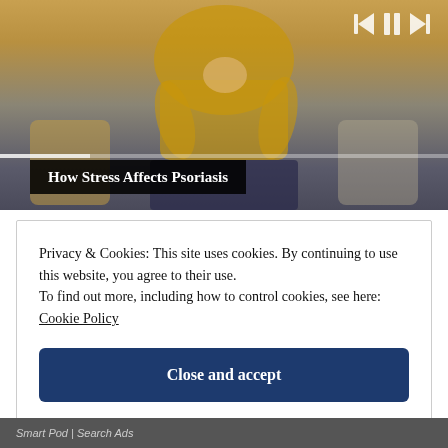[Figure (screenshot): Video player showing a person in a yellow sweater sitting on a couch, with playback controls (previous, pause, next) and a progress bar. A title overlay reads 'How Stress Affects Psoriasis'.]
How Stress Affects Psoriasis
Privacy & Cookies: This site uses cookies. By continuing to use this website, you agree to their use.
To find out more, including how to control cookies, see here: Cookie Policy
Close and accept
Smart Pod | Search Ads